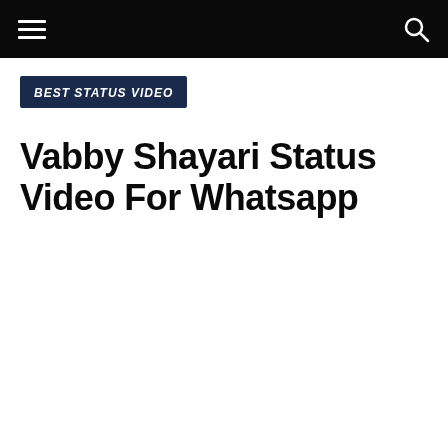BEST STATUS VIDEO | Vabby Shayari Status Video For Whatsapp
BEST STATUS VIDEO
Vabby Shayari Status Video For Whatsapp